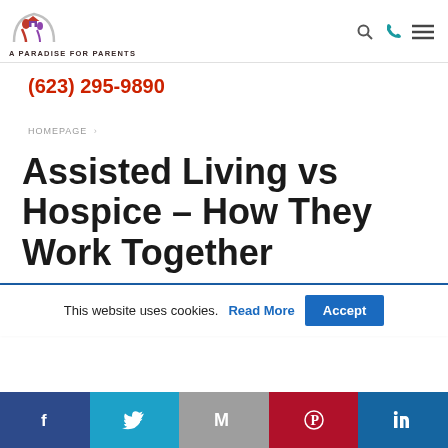A PARADISE FOR PARENTS — (623) 295-9890
(623) 295-9890
HOMEPAGE >
Assisted Living vs Hospice – How They Work Together
This website uses cookies. Read More Accept
Facebook Twitter Email Pinterest LinkedIn social share bar